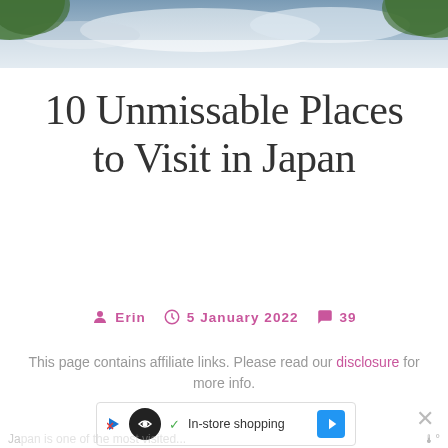[Figure (photo): Scenic outdoor photo showing trees and sky, used as header banner image]
10 Unmissable Places to Visit in Japan
ERIN  5 JANUARY 2022  39
This page contains affiliate links. Please read our disclosure for more info.
[Figure (infographic): Advertisement bar showing In-store shopping with navigation icon]